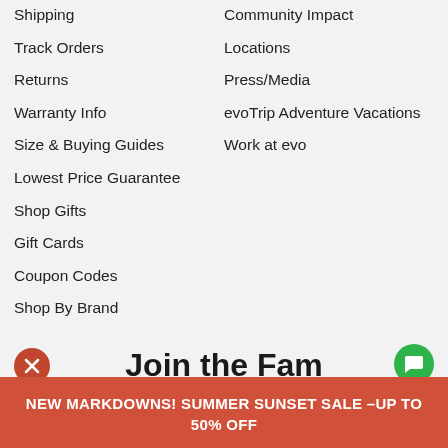Shipping
Track Orders
Returns
Warranty Info
Size & Buying Guides
Lowest Price Guarantee
Shop Gifts
Gift Cards
Coupon Codes
Shop By Brand
Community Impact
Locations
Press/Media
evoTrip Adventure Vacations
Work at evo
Join the Fam
...and get fresh tracks on the latest evo deals, tips and news!
NEW MARKDOWNS! SUMMER SUNSET SALE – UP TO 50% OFF